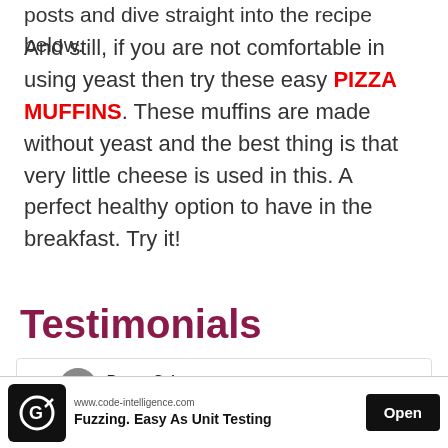posts and dive straight into the recipe below.
And still, if you are not comfortable in using yeast then try these easy PIZZA MUFFINS. These muffins are made without yeast and the best thing is that very little cheese is used in this. A perfect healthy option to have in the breakfast. Try it!
Testimonials
[Figure (screenshot): Chat interface screenshot showing user Ramya Guhan, Active 19m ago, with video, message, and info icons. Below shows partial message: Sam Mam, made your Stromboli at home. It was a]
[Figure (screenshot): Advertisement banner: code-intelligence.com - Fuzzing. Easy As Unit Testing - Open button]